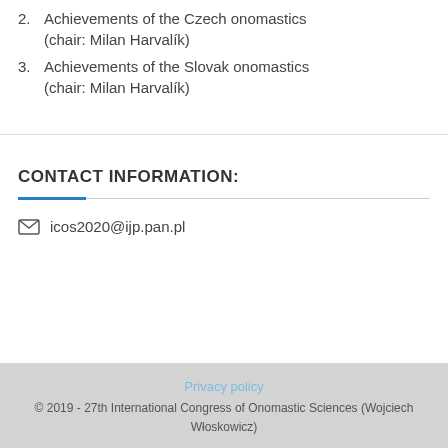2. Achievements of the Czech onomastics (chair: Milan Harvalík)
3. Achievements of the Slovak onomastics (chair: Milan Harvalík)
CONTACT INFORMATION:
icos2020@ijp.pan.pl
Privacy policy
© 2019 - 27th International Congress of Onomastic Sciences (Wojciech Włoskowicz)